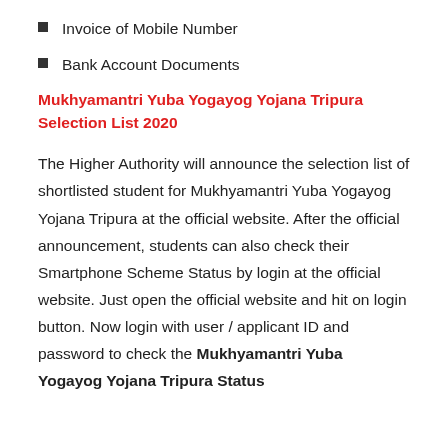Invoice of Mobile Number
Bank Account Documents
Mukhyamantri Yuba Yogayog Yojana Tripura Selection List 2020
The Higher Authority will announce the selection list of shortlisted student for Mukhyamantri Yuba Yogayog Yojana Tripura at the official website. After the official announcement, students can also check their Smartphone Scheme Status by login at the official website. Just open the official website and hit on login button. Now login with user / applicant ID and password to check the Mukhyamantri Yuba Yogayog Yojana Tripura Status